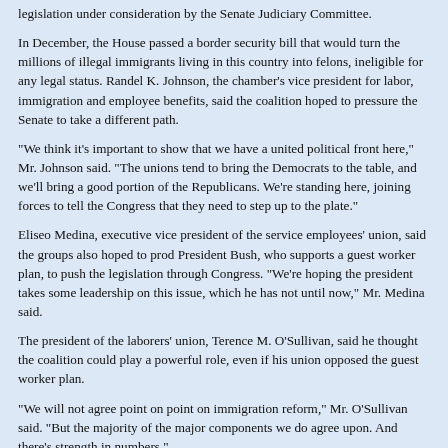legislation under consideration by the Senate Judiciary Committee.
In December, the House passed a border security bill that would turn the millions of illegal immigrants living in this country into felons, ineligible for any legal status. Randel K. Johnson, the chamber's vice president for labor, immigration and employee benefits, said the coalition hoped to pressure the Senate to take a different path.
"We think it's important to show that we have a united political front here," Mr. Johnson said. "The unions tend to bring the Democrats to the table, and we'll bring a good portion of the Republicans. We're standing here, joining forces to tell the Congress that they need to step up to the plate."
Eliseo Medina, executive vice president of the service employees' union, said the groups also hoped to prod President Bush, who supports a guest worker plan, to push the legislation through Congress. "We're hoping the president takes some leadership on this issue, which he has not until now," Mr. Medina said.
The president of the laborers' union, Terence M. O'Sullivan, said he thought the coalition could play a powerful role, even if his union opposed the guest worker plan.
"We will not agree point on point on immigration reform," Mr. O'Sullivan said. "But the majority of the major components we do agree upon. And there's strength in numbers."
The two unions are members of a labor federation created last year, partly under the service employees' union's leadership, as a rival to the A.F.L.-C.I.O. The laborers' union is in both federations.